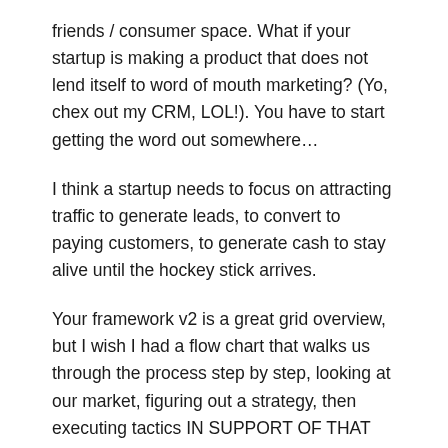friends / consumer space. What if your startup is making a product that does not lend itself to word of mouth marketing? (Yo, chex out my CRM, LOL!). You have to start getting the word out somewhere...
I think a startup needs to focus on attracting traffic to generate leads, to convert to paying customers, to generate cash to stay alive until the hockey stick arrives.
Your framework v2 is a great grid overview, but I wish I had a flow chart that walks us through the process step by step, looking at our market, figuring out a strategy, then executing tactics IN SUPPORT OF THAT STRATEGY, and measuring performance to see if it is working. I posit most of us in the pressure cooker (i.e. without Fred's money) start tactics as a throw it at the wall & see what stixx, without adequately figuring out strategy. If it works, it could be a false start, a fluke, that won't get us over the chasm to the rest of the non